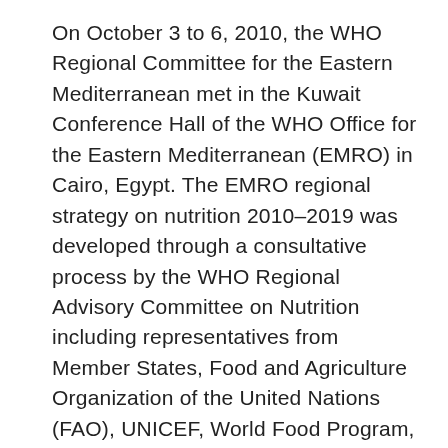On October 3 to 6, 2010, the WHO Regional Committee for the Eastern Mediterranean met in the Kuwait Conference Hall of the WHO Office for the Eastern Mediterranean (EMRO) in Cairo, Egypt. The EMRO regional strategy on nutrition 2010–2019 was developed through a consultative process by the WHO Regional Advisory Committee on Nutrition including representatives from Member States, Food and Agriculture Organization of the United Nations (FAO), UNICEF, World Food Program, International Council for Control of Iodine Deficiency Disorders (ICCIDD), UNRWA, Middle East and North African Nutrition Association and International Union of Nutritional Sciences. The strategy addresses the major health and nutrition problems in the Region and includes control of IDD, targeting undernutrition, and other micronutrient deficiencies. It aims to support countries in establishing and implementing action in nutrition in accordance with their national situation